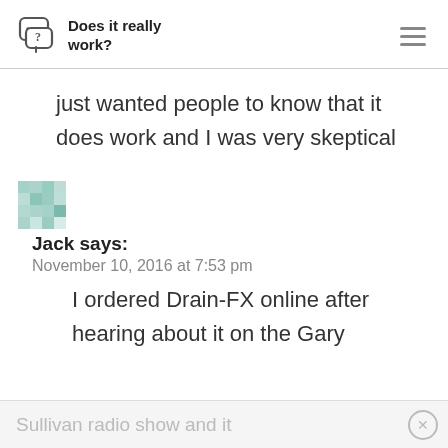Does it really work?
just wanted people to know that it does work and I was very skeptical
Jack says:
November 10, 2016 at 7:53 pm
I ordered Drain-FX online after hearing about it on the Gary
Sullivan radio show and it